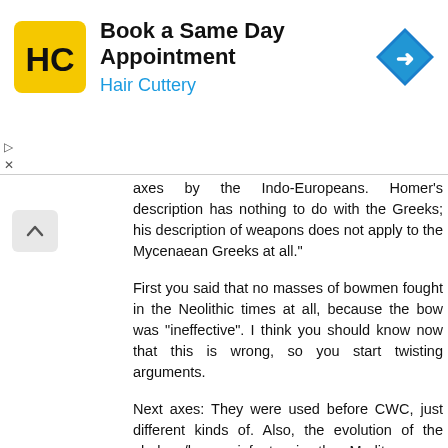[Figure (other): Advertisement banner for Hair Cuttery: 'Book a Same Day Appointment' with Hair Cuttery logo (yellow square with HC letters) and a blue navigation arrow icon. Ad close controls (triangle and X) visible on left.]
axes by the Indo-Europeans. Homer's description has nothing to do with the Greeks; his description of weapons does not apply to the Mycenaean Greeks at all."
First you said that no masses of bowmen fought in the Neolithic times at all, because the bow was "ineffective". I think you should know now that this is wrong, so you start twisting arguments.
Next axes: They were used before CWC, just different kinds of. Also, the evolution of the phalanx/heavy infantry in the Mediterranean cultures and later Central Europe during Hallstatt too btw obvious.
Mycenaeans obviously used bows in warfare, its ridiculous to say otherwise!
Also, you can quit your talks about "no cavalry before Iron